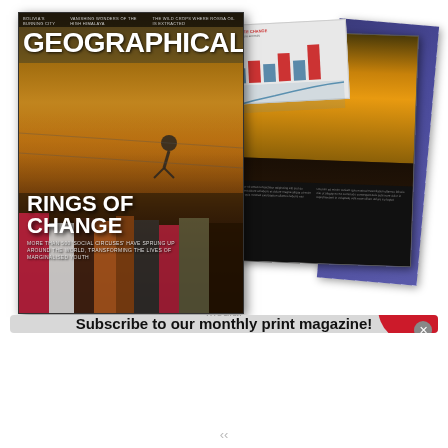[Figure (illustration): Geographical magazine cover showing crowd scene with acrobat, title 'RINGS OF CHANGE', overlaid with interior magazine spread pages showing storm/sea photography and text columns, plus a blue/purple page visible at the back]
Subscribe to our monthly print magazine!
No compatible source was found for this media.